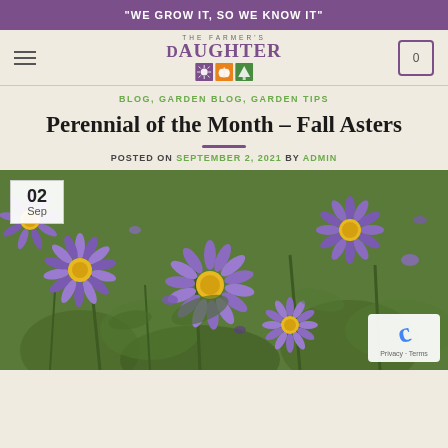"WE GROW IT, SO WE KNOW IT"
[Figure (logo): The Farmer's Daughter logo with purple text and three colored icon boxes (purple sunflower, orange pumpkin, green tree)]
BLOG, GARDEN BLOG, GARDEN TIPS
Perennial of the Month – Fall Asters
POSTED ON SEPTEMBER 2, 2021 BY ADMIN
[Figure (photo): Close-up photo of purple fall aster flowers with yellow centers and green foliage in the background. A date badge shows '02 Sep' in the top left corner.]